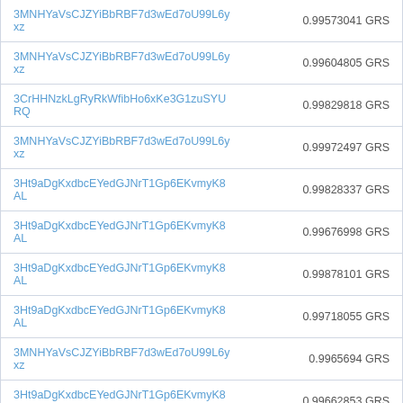| Address | Amount |
| --- | --- |
| 3MNHYaVsCJZYiBbRBF7d3wEd7oU99L6yxz | 0.99573041 GRS |
| 3MNHYaVsCJZYiBbRBF7d3wEd7oU99L6yxz | 0.99604805 GRS |
| 3CrHHNzkLgRyRkWfibHo6xKe3G1zuSYURQ | 0.99829818 GRS |
| 3MNHYaVsCJZYiBbRBF7d3wEd7oU99L6yxz | 0.99972497 GRS |
| 3Ht9aDgKxdbcEYedGJNrT1Gp6EKvmyK8AL | 0.99828337 GRS |
| 3Ht9aDgKxdbcEYedGJNrT1Gp6EKvmyK8AL | 0.99676998 GRS |
| 3Ht9aDgKxdbcEYedGJNrT1Gp6EKvmyK8AL | 0.99878101 GRS |
| 3Ht9aDgKxdbcEYedGJNrT1Gp6EKvmyK8AL | 0.99718055 GRS |
| 3MNHYaVsCJZYiBbRBF7d3wEd7oU99L6yxz | 0.9965694 GRS |
| 3Ht9aDgKxdbcEYedGJNrT1Gp6EKvmyK8AL | 0.99662853 GRS |
| 35R48DDnmy31VhJAstQxfa5pYDqLHaTeSQ | 0.99836396 GRS |
| 3Ht9aDgKxdbcEYedGJNrT1Gp6EKvmyK8AL | 0.99819425 GRS |
| 3Ht9aDgKxdbcEYedGJNrT1Gp6EKvmyK8AL | 0.99822775 GRS |
| 3Ht9aDgKxdbcEYedGJNrT1Gp6EKvmyK8AL | 0.996563 GRS |
| 3Ht9aDgKxdbcEYedGJNrT1Gp6EKvmyK8AL | 0.99831868 GRS |